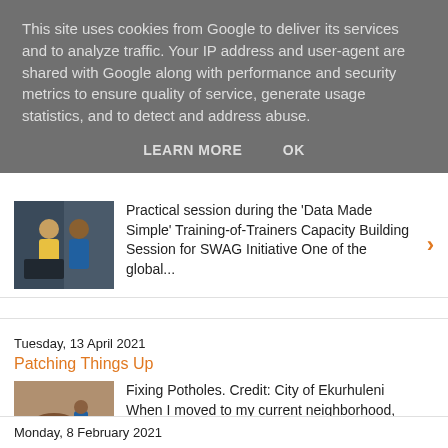This site uses cookies from Google to deliver its services and to analyze traffic. Your IP address and user-agent are shared with Google along with performance and security metrics to ensure quality of service, generate usage statistics, and to detect and address abuse.
LEARN MORE   OK
Practical session during the 'Data Made Simple' Training-of-Trainers Capacity Building Session for SWAG Initiative One of the global...
Tuesday, 13 April 2021
Patching Things Up
[Figure (photo): Photo of two people wearing masks at a desk]
[Figure (photo): Photo of a person fixing a pothole in a road]
Fixing Potholes. Credit: City of Ekurhuleni When I moved to my current neighborhood, one of the things that convinced me to take the house w...
Monday, 8 February 2021